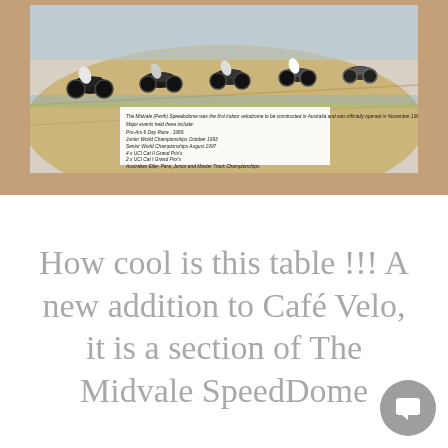[Figure (photo): Photo of cyclists racing on an indoor velodrome track, shown as part of a decorative table surface. Below the race photo is a white caption box with italic text describing the Midvale (Perth) Speedodome, listing major events held there including Pro-Am 6 Day Race 1989, Junior World Championships October 1993, Senior World Championships August 1997, 4 x UCI Cat II Grand Prix's, 2 x UCI Cat I Grand Prix's, and Australian Elite, Para, Junior and Master Track Championships.]
How cool is this table !!! A new addition to Café Velo, it is a section of The Midvale SpeedDome